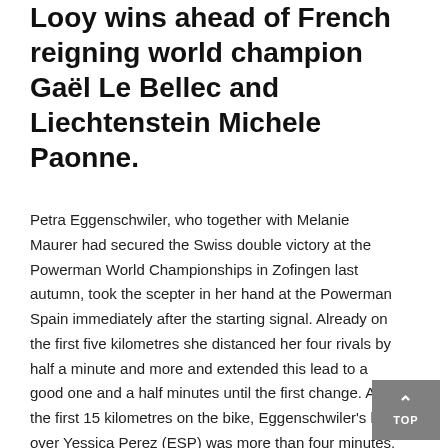Looy wins ahead of French reigning world champion Gaël Le Bellec and Liechtenstein Michele Paonne.
Petra Eggenschwiler, who together with Melanie Maurer had secured the Swiss double victory at the Powerman World Championships in Zofingen last autumn, took the scepter in her hand at the Powerman Spain immediately after the starting signal. Already on the first five kilometres she distanced her four rivals by half a minute and more and extended this lead to a good one and a half minutes until the first change. After the first 15 kilometres on the bike, Eggenschwiler's lead over Yessica Perez (ESP) was more than four minutes.